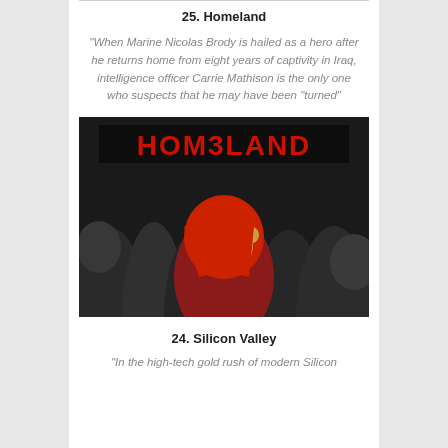25. Homeland
“When Marine Nicolas Brody is hailed as a hero after he returns home from eight years of captivity in Iraq, intelligence officer Carrie Mathison is the only one who suspects that he may have been “turned”
[Figure (photo): Homeland TV show poster featuring a woman in a red headscarf surrounded by figures in black robes, with the show title HOMELAND in red letters at the top]
24. Silicon Valley
“In the high-tech gold rush of modern Silicon